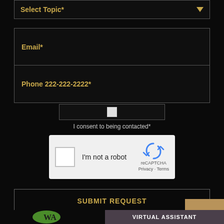[Figure (screenshot): Select Topic dropdown field with gold text and dark background, arrow indicator on right]
[Figure (screenshot): Email* input field with gold text on dark background]
[Figure (screenshot): Phone 222-222-2222* input field with gold text on dark background]
[Figure (screenshot): Consent checkbox bar with white checkbox]
I consent to being contacted*
[Figure (screenshot): reCAPTCHA widget with 'I'm not a robot' checkbox, reCAPTCHA logo, Privacy and Terms links]
[Figure (screenshot): SUBMIT REQUEST button with gold text on dark background with border]
[Figure (screenshot): Top button in tan/gold color]
[Figure (logo): WA green leaf logo]
VIRTUAL ASSISTANT